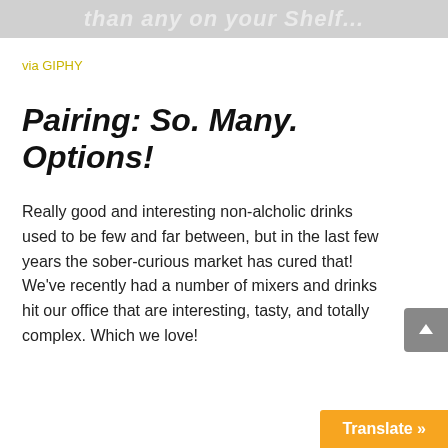[Figure (illustration): Gray banner strip at top with italic text partially visible: 'than any on your Shelf...']
via GIPHY
Pairing: So. Many. Options!
Really good and interesting non-alcholic drinks used to be few and far between, but in the last few years the sober-curious market has cured that! We've recently had a number of mixers and drinks hit our office that are interesting, tasty, and totally complex. Which we love!